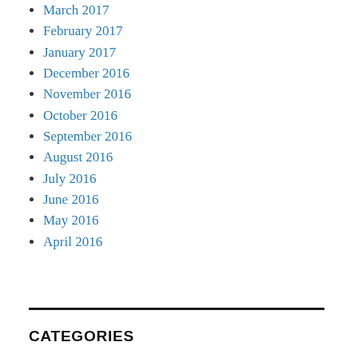March 2017
February 2017
January 2017
December 2016
November 2016
October 2016
September 2016
August 2016
July 2016
June 2016
May 2016
April 2016
CATEGORIES